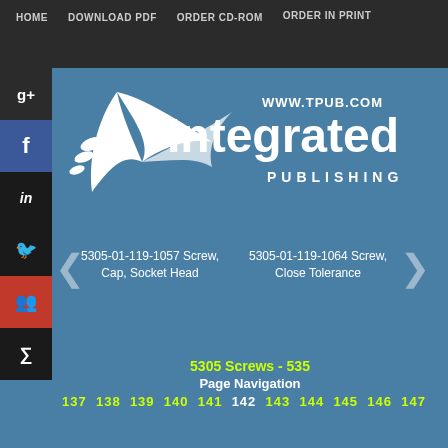HOME   DOWNLOAD PDF   ORDER CD-ROM   ORDER IN PRINT
[Figure (logo): Integrated Publishing logo with bird/arrow design and www.tpub.com URL]
5305-01-119-1057 Screw, Cap, Socket Head
5305-01-119-1064 Screw, Close Tolerance
5305 Screws - 535
Page Navigation
137 138 139 140 141 142 143 144 145 146 147